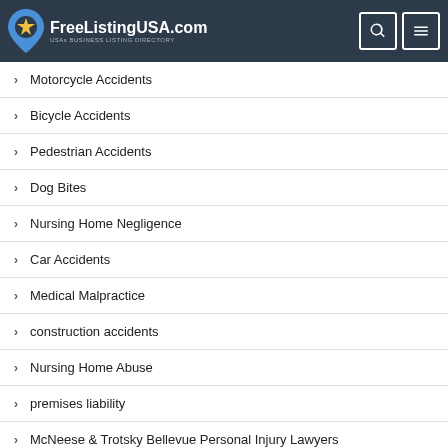FreeListingUSA.com — USAs BUSINESS LISTING DIRECTORY
Motorcycle Accidents
Bicycle Accidents
Pedestrian Accidents
Dog Bites
Nursing Home Negligence
Car Accidents
Medical Malpractice
construction accidents
Nursing Home Abuse
premises liability
McNeese & Trotsky Bellevue Personal Injury Lawyers
Slip & Fall